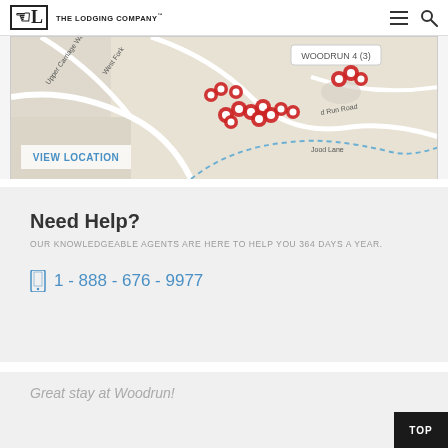THE LODGING COMPANY
[Figure (map): Map showing Woodrun location with multiple red pin markers clustered in the center-right area, roads including Upper Carriage Way, West Fork, and Covered Run Road visible. Blue dashed path shown. VIEW LOCATION link in blue at bottom left of map.]
Need Help?
OUR KNOWLEDGEABLE AGENTS ARE HERE TO HELP YOU 364 DAYS A YEAR.
1 - 888 - 676 - 9977
Great stay at Woodrun!